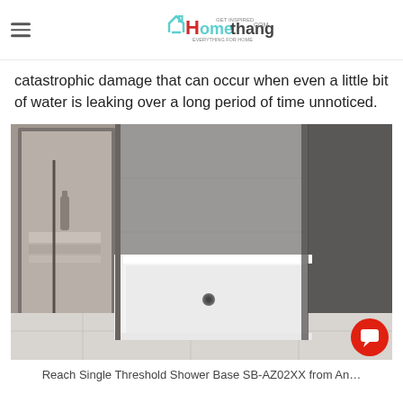Homethangs.com — GET INSPIRED, EVERYTHING FOR HOME
catastrophic damage that can occur when even a little bit of water is leaking over a long period of time unnoticed.
[Figure (photo): White single-threshold shower base installed in a modern bathroom with grey concrete-look walls. A drain is visible near the center of the white base. On the left side there is a mirror reflecting books, bottles and other bathroom items.]
Reach Single Threshold Shower Base SB-AZ02XX from An…